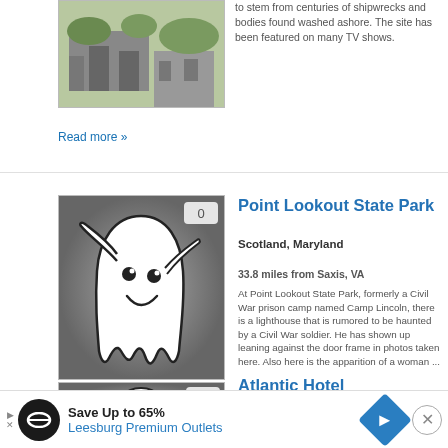[Figure (photo): Photo of a building exterior with trees]
to stem from centuries of shipwrecks and bodies found washed ashore. The site has been featured on many TV shows.
Read more »
[Figure (illustration): Ghost illustration on grey background with badge showing 0]
Point Lookout State Park
Scotland, Maryland
33.8 miles from Saxis, VA
At Point Lookout State Park, formerly a Civil War prison camp named Camp Lincoln, there is a lighthouse that is rumored to be haunted by a Civil War soldier. He has shown up leaning against the door frame in photos taken here. Also here is the apparition of a woman...
Read more »
[Figure (illustration): Ghost illustration on grey background with badge showing 0]
Atlantic Hotel
Berlin, Maryland
[Figure (infographic): Advertisement banner: Save Up to 65% Leesburg Premium Outlets]